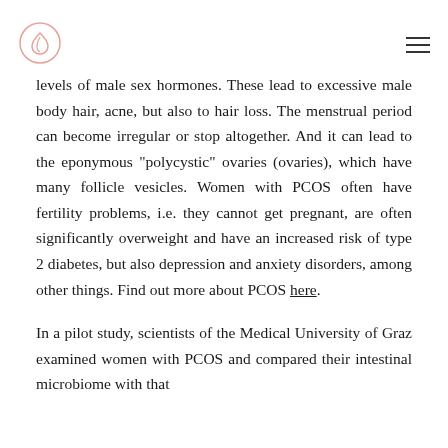[Logo] [Hamburger menu]
levels of male sex hormones. These lead to excessive male body hair, acne, but also to hair loss. The menstrual period can become irregular or stop altogether. And it can lead to the eponymous "polycystic" ovaries (ovaries), which have many follicle vesicles. Women with PCOS often have fertility problems, i.e. they cannot get pregnant, are often significantly overweight and have an increased risk of type 2 diabetes, but also depression and anxiety disorders, among other things. Find out more about PCOS here.
In a pilot study, scientists of the Medical University of Graz examined women with PCOS and compared their intestinal microbiome with that